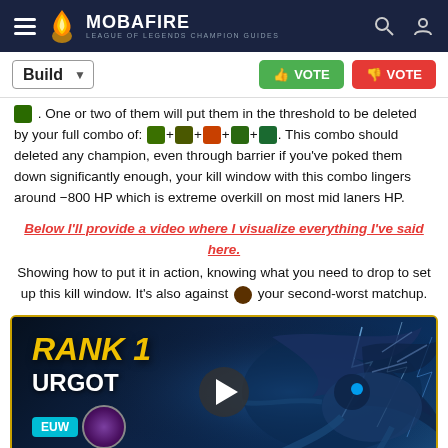MOBAFIRE — LEAGUE OF LEGENDS CHAMPION GUIDES
Build [dropdown] | VOTE (up) | VOTE (down)
. One or two of them will put them in the threshold to be deleted by your full combo of: [icons] + [icon] + [icon] + [icon] + [icon]. This combo should deleted any champion, even through barrier if you've poked them down significantly enough, your kill window with this combo lingers around -800 HP which is extreme overkill on most mid laners HP.
Below I'll provide a video where I visualize everything I've said here. Showing how to put it in action, knowing what you need to drop to set up this kill window. It's also against [champion icon] your second-worst matchup.
[Figure (screenshot): Video thumbnail showing 'RANK 1 URGOT' with EUW badge, MASTER label, champion circle icon, play button overlay, and a monster/champion artwork on the right side against a dark blue background with gold border.]